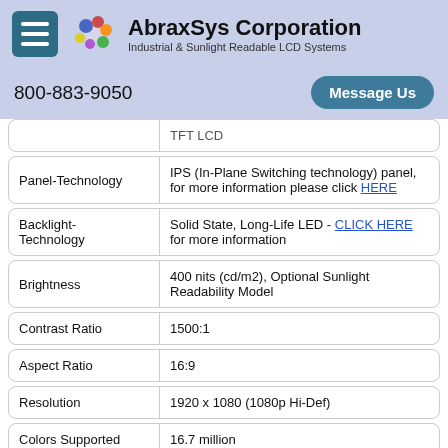AbraxSys Corporation - Industrial & Sunlight Readable LCD Systems
800-883-9050
| Attribute | Value |
| --- | --- |
|  | TFT LCD |
| Panel-Technology | IPS (In-Plane Switching technology) panel, for more information please click HERE |
| Backlight-Technology | Solid State, Long-Life LED - CLICK HERE for more information |
| Brightness | 400 nits (cd/m2), Optional Sunlight Readability Model |
| Contrast Ratio | 1500:1 |
| Aspect Ratio | 16:9 |
| Resolution | 1920 x 1080 (1080p Hi-Def) |
| Colors Supported | 16.7 million |
| Dot Size | 0.297 |